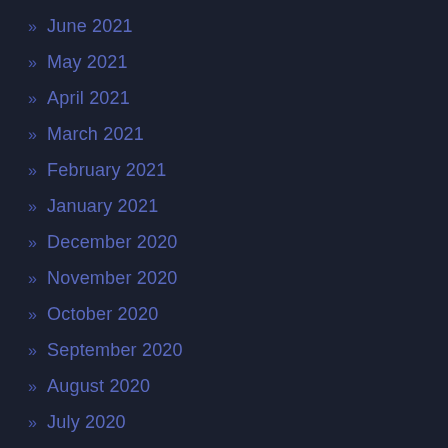» June 2021
» May 2021
» April 2021
» March 2021
» February 2021
» January 2021
» December 2020
» November 2020
» October 2020
» September 2020
» August 2020
» July 2020
» June 2020